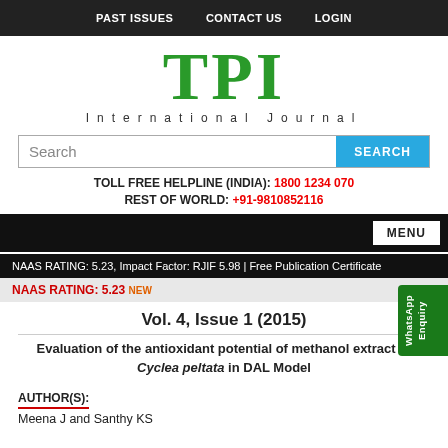PAST ISSUES   CONTACT US   LOGIN
TPI International Journal
Search
TOLL FREE HELPLINE (INDIA): 1800 1234 070
REST OF WORLD: +91-9810852116
MENU
NAAS RATING: 5.23, Impact Factor: RJIF 5.98 | Free Publication Certificate
NAAS RATING: 5.23 NEW
Vol. 4, Issue 1 (2015)
Evaluation of the antioxidant potential of methanol extract of Cyclea peltata in DAL Model
AUTHOR(S):
Meena J and Santhy KS